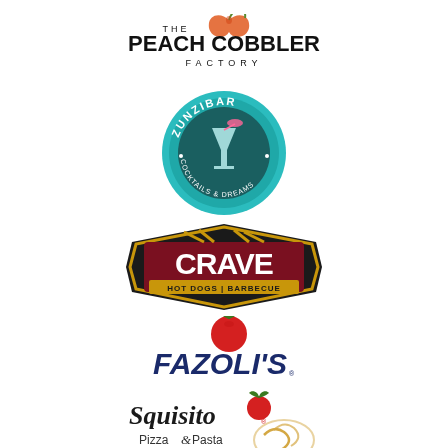[Figure (logo): The Peach Cobbler Factory logo — black serif text with a stylized peach leaf]
[Figure (logo): Zunzibar Cocktails & Dreams logo — teal circular badge with a cocktail glass]
[Figure (logo): Crave Hot Dogs & Barbecue logo — dark red and gold badge shape with bold white text]
[Figure (logo): Fazoli's logo — dark blue script text with a red tomato graphic]
[Figure (logo): Squisito Pizza & Pasta logo — script text with a tomato and pasta graphic]
[Figure (logo): Dickey's logo — yellow background with dark text (partially visible at bottom)]